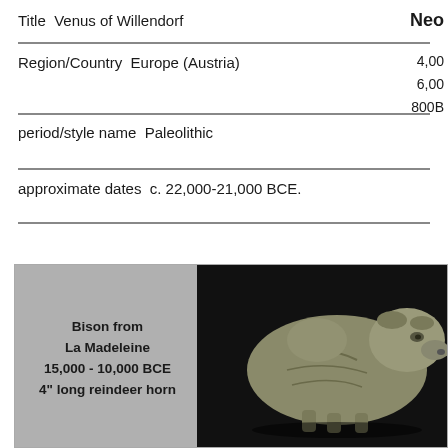Title  Venus of Willendorf     Neo
Region/Country  Europe (Austria)     4,00
6,00
800B
period/style name  Paleolithic
approximate dates  c. 22,000-21,000 BCE.
[Figure (photo): Photograph of a bison sculpture from La Madeleine, 15,000 - 10,000 BCE, 4" long reindeer horn, shown against a dark background, displayed in a gray-bordered box.]
Bison from La Madeleine 15,000 - 10,000 BCE 4" long reindeer horn